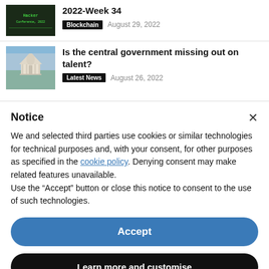2022-Week 34
Blockchain  August 29, 2022
Is the central government missing out on talent?
Latest News  August 26, 2022
Notice
We and selected third parties use cookies or similar technologies for technical purposes and, with your consent, for other purposes as specified in the cookie policy. Denying consent may make related features unavailable.
Use the “Accept” button or close this notice to consent to the use of such technologies.
Accept
Learn more and customise